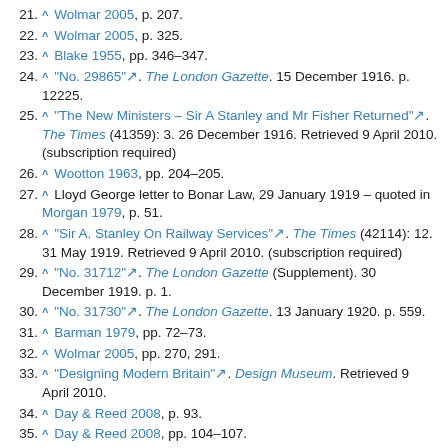21. ^ Wolmar 2005, p. 207.
22. ^ Wolmar 2005, p. 325.
23. ^ Blake 1955, pp. 346–347.
24. ^ "No. 29865". The London Gazette. 15 December 1916. p. 12225.
25. ^ "The New Ministers – Sir A Stanley and Mr Fisher Returned". The Times (41359): 3. 26 December 1916. Retrieved 9 April 2010. (subscription required)
26. ^ Wootton 1963, pp. 204–205.
27. ^ Lloyd George letter to Bonar Law, 29 January 1919 – quoted in Morgan 1979, p. 51.
28. ^ "Sir A. Stanley On Railway Services". The Times (42114): 12. 31 May 1919. Retrieved 9 April 2010. (subscription required)
29. ^ "No. 31712". The London Gazette (Supplement). 30 December 1919. p. 1.
30. ^ "No. 31730". The London Gazette. 13 January 1920. p. 559.
31. ^ Barman 1979, pp. 72–73.
32. ^ Wolmar 2005, pp. 270, 291.
33. ^ "Designing Modern Britain". Design Museum. Retrieved 9 April 2010.
34. ^ Day & Reed 2008, p. 93.
35. ^ Day & Reed 2008, pp. 104–107.